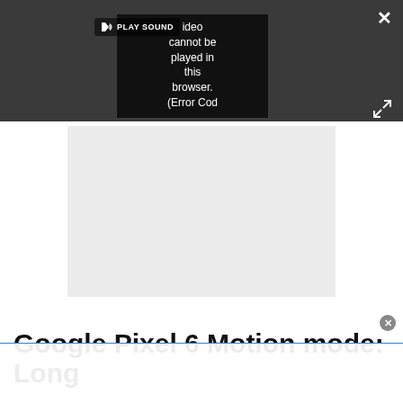[Figure (screenshot): Screenshot of a web browser showing a video player with a dark toolbar. The video player displays an error message: 'Video cannot be played in this browser. (Error Cod' with a PLAY SOUND button overlay on the left side. A close (X) button is in the top-right corner and an expand button is below it. Below the dark bar is a light gray video frame area. At the bottom is a title 'Google Pixel 6 Motion mode: Long' with a blue underline and a close circle button.]